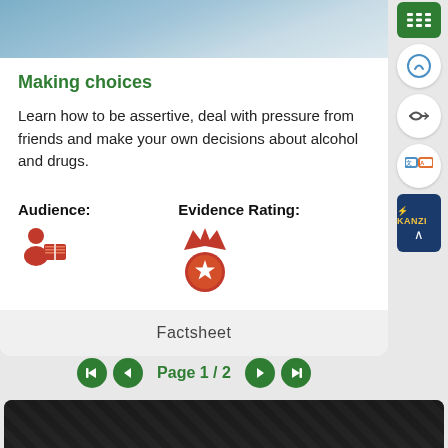[Figure (photo): Top portion of a card showing a photo of people, partially visible]
Making choices
Learn how to be assertive, deal with pressure from friends and make your own decisions about alcohol and drugs.
Audience:
[Figure (illustration): Orange icon of a person reading a book (audience icon)]
Evidence Rating:
[Figure (illustration): Orange medal/award icon (evidence rating)]
Factsheet
Page 1 / 2
[Figure (photo): Bottom dark photo partially visible, appears to be a dark textured surface]